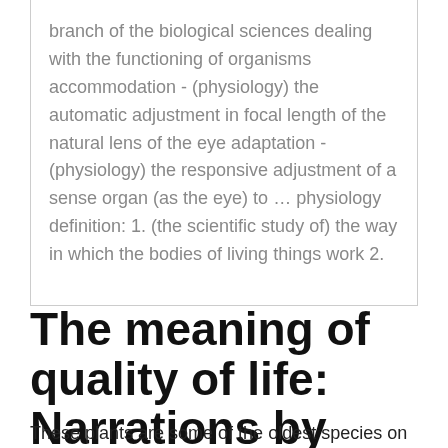branch of the biological sciences dealing with the functioning of organisms accommodation - (physiology) the automatic adjustment in focal length of the natural lens of the eye adaptation - (physiology) the responsive adjustment of a sense organ (as the eye) to … physiology definition: 1. (the scientific study of) the way in which the bodies of living things work 2.
The meaning of quality of life: Narrations by patients with
These plants are some of the oldest species on